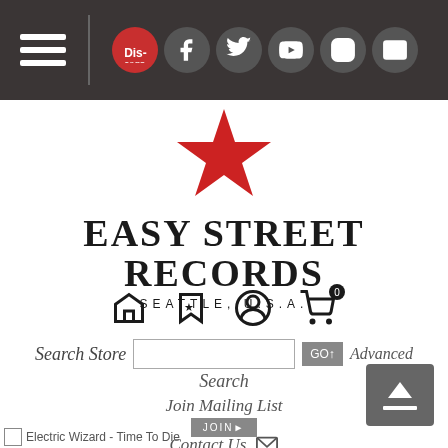[Figure (screenshot): Navigation bar with hamburger menu, Discogs icon (red), Facebook, Twitter, YouTube, Instagram, and email icons on dark background]
[Figure (logo): Easy Street Records logo with red five-pointed star above bold serif text EASY STREET RECORDS and SEATTLE, U.S.A. subtitle]
[Figure (infographic): Row of navigation icons: home, bookmark, user account, shopping cart with badge 0]
Search Store   GO↑   Advanced Search
Join Mailing List  JOIN▸
Contact Us ✉
Electric Wizard - Time To Die